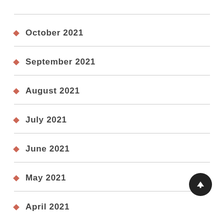October 2021
September 2021
August 2021
July 2021
June 2021
May 2021
April 2021